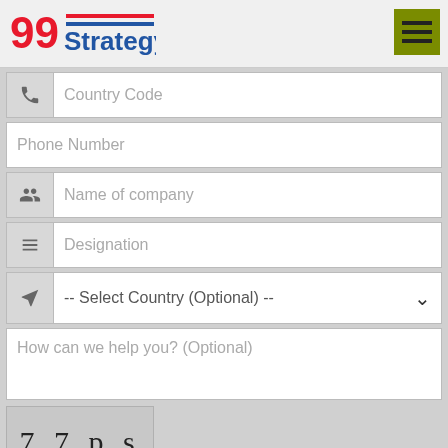[Figure (logo): 99Strategy logo with red 99 numerals and blue Strategy text with red and blue horizontal lines]
[Figure (other): Hamburger menu button with olive/dark yellow background and three horizontal lines]
Country Code
Phone Number
Name of company
Designation
-- Select Country (Optional) --
How can we help you? (Optional)
[Figure (other): Captcha image showing text '7 7 p s' in large serif font on grey background]
Enter captcha Text
Submit